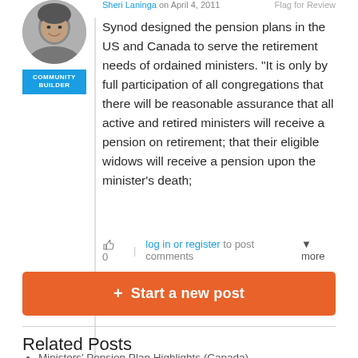[Figure (photo): Black and white circular avatar photo of a smiling person]
COMMUNITY BUILDER
Sheri Laninga on April 4, 2011   Flag for Review
Synod designed the pension plans in the US and Canada to serve the retirement needs of ordained ministers. "It is only by full participation of all congregations that there will be reasonable assurance that all active and retired ministers will receive a pension on retirement; that their eligible widows will receive a pension upon the minister's death;
👍 0  |  log in or register to post comments  ▾ more
+ Start a new post
Related Posts
Ministers' Pension Plan Highlights (Canada)